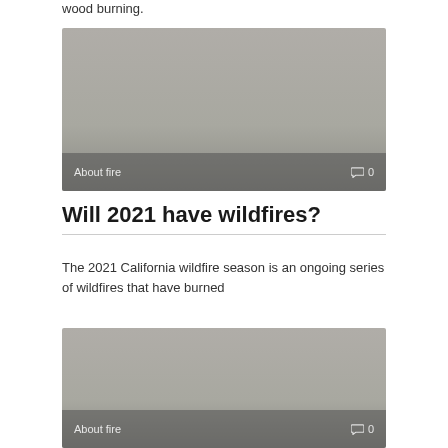wood burning.
[Figure (photo): Gray/muted photo placeholder card with 'About fire' label and comment count '0' in overlay bar at bottom]
Will 2021 have wildfires?
The 2021 California wildfire season is an ongoing series of wildfires that have burned
[Figure (photo): Gray/muted photo placeholder card with 'About fire' label and comment count '0' in overlay bar at bottom]